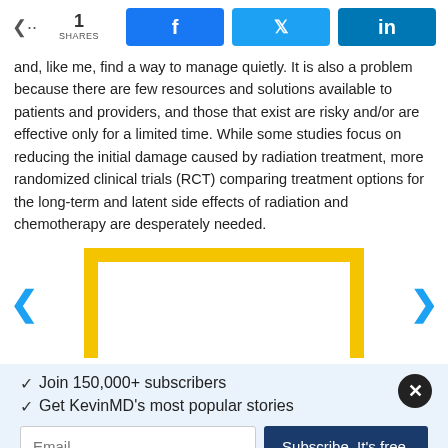[Figure (infographic): Social share bar with share count of 1, and Facebook, Twitter, LinkedIn buttons]
and, like me, find a way to manage quietly. It is also a problem because there are few resources and solutions available to patients and providers, and those that exist are risky and/or are effective only for a limited time. While some studies focus on reducing the initial damage caused by radiation treatment, more randomized clinical trials (RCT) comparing treatment options for the long-term and latent side effects of radiation and chemotherapy are desperately needed.
[Figure (infographic): Yellow-bordered rectangular frame (top and sides only) with left and right navigation arrows on either side, part of a carousel element]
✓  Join 150,000+ subscribers
✓  Get KevinMD's most popular stories
[Figure (infographic): Email subscription form with email text input and 'Subscribe. It's free.' button, with a close (X) button in top right]